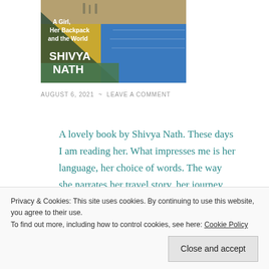[Figure (illustration): Book cover showing 'A Girl, Her Backpack and the World' by Shivya Nath, with travel photos in triangular composition]
AUGUST 6, 2021 ~ LEAVE A COMMENT
A lovely book by Shivya Nath. These days I am reading her. What impresses me is her language, her choice of words. The way she narrates her travel story, her journey from being a homely
Privacy & Cookies: This site uses cookies. By continuing to use this website, you agree to their use.
To find out more, including how to control cookies, see here: Cookie Policy
Close and accept
back of my mind which lures me back